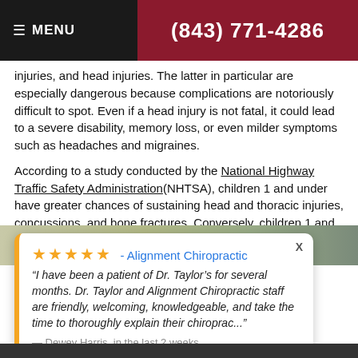≡ MENU | (843) 771-4286
injuries, and head injuries. The latter in particular are especially dangerous because complications are notoriously difficult to spot. Even if a head injury is not fatal, it could lead to a severe disability, memory loss, or even milder symptoms such as headaches and migraines.
According to a study conducted by the National Highway Traffic Safety Administration(NHTSA), children 1 and under have greater chances of sustaining head and thoracic injuries, concussions, and bone fractures. Conversely, children 1 and older are at higher risk of skull fractures.
[Figure (screenshot): Review card from Alignment Chiropractic with 5 stars, quote from Dewey Harris, attributed via Review Wave, overlaid on a background photo.]